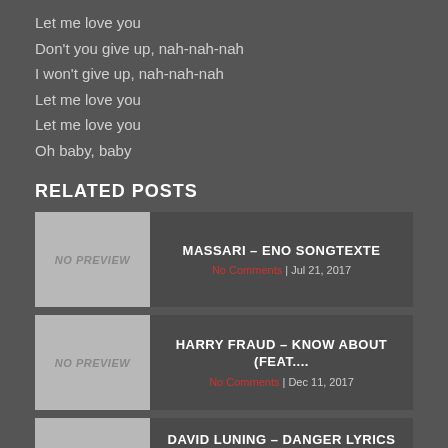Let me love you
Don't you give up, nah-nah-nah
I won't give up, nah-nah-nah
Let me love you
Let me love you
Oh baby, baby
RELATED POSTS
MASSARI – ENO SONGTEXTE
No Comments | Jul 21, 2017
HARRY FRAUD – KNOW ABOUT (FEAT....
No Comments | Dec 11, 2017
DAVID LUNING – DANGER LYRICS